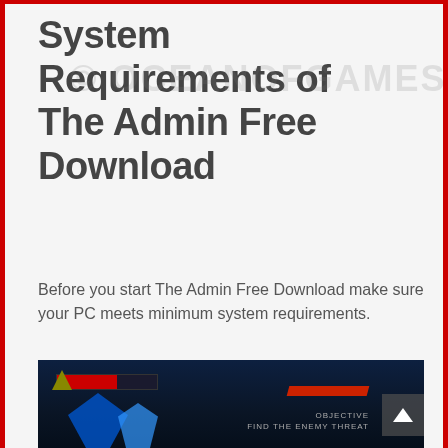System Requirements of The Admin Free Download
Before you start The Admin Free Download make sure your PC meets minimum system requirements.
Tested on Windows 7 64-Bit
Operating System: Windows 7/8/8.1/10
CPU: Intel G640 or later.
RAM: 2GB
Setup Size: 969MB
Hard Disk Space: 4GB
[Figure (screenshot): Screenshot of The Admin game showing dark sci-fi interface with HUD elements, red health bar on left, red diagonal bar in center, objectives text on right, blue glowing structures at bottom]